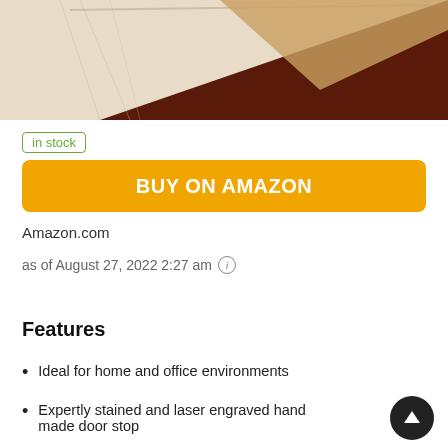[Figure (photo): Product photo of a wooden door stop with natural and dark stained wood, partially visible at top of page]
in stock
BUY ON AMAZON
Amazon.com
as of August 27, 2022 2:27 am ℹ
Features
Ideal for home and office environments
Expertly stained and laser engraved hand made door stop